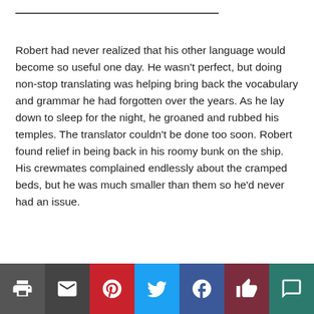Robert had never realized that his other language would become so useful one day. He wasn't perfect, but doing non-stop translating was helping bring back the vocabulary and grammar he had forgotten over the years. As he lay down to sleep for the night, he groaned and rubbed his temples. The translator couldn't be done too soon. Robert found relief in being back in his roomy bunk on the ship. His crewmates complained endlessly about the cramped beds, but he was much smaller than them so he'd never had an issue.
[Figure (other): Social sharing bar with icons for print, email, Pinterest, Twitter, Facebook, like/thumbs-up, and comment/speech bubble]